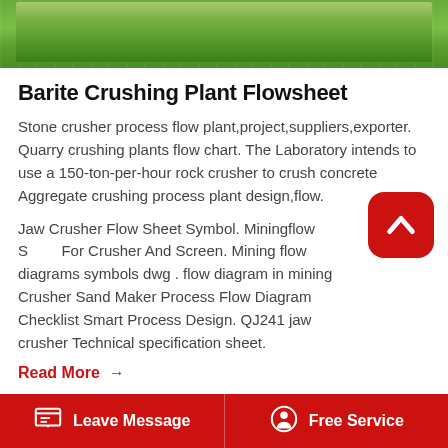[Figure (photo): Aerial or landscape photo of green grassy field/lawn area, used as a header image for a webpage about crushing plant flowsheets.]
Barite Crushing Plant Flowsheet
Stone crusher process flow plant,project,suppliers,exporter. Quarry crushing plants flow chart. The Laboratory intends to use a 150-ton-per-hour rock crusher to crush concrete Aggregate crushing process plant design,flow.
Jaw Crusher Flow Sheet Symbol. Miningflow Sheet For Crusher And Screen. Mining flow diagrams symbols dwg . flow diagram in mining Crusher Sand Maker Process Flow Diagram Checklist Smart Process Design. QJ241 jaw crusher Technical specification sheet.
Read More →
[Figure (screenshot): Red rounded square back/up navigation button with a chevron/arrow pointing upward, overlaid on the page content.]
Leave Message   Free Service